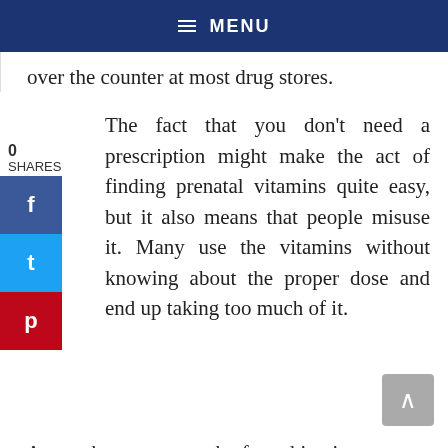MENU
over the counter at most drug stores.
The fact that you don't need a prescription might make the act of finding prenatal vitamins quite easy, but it also means that people misuse it. Many use the vitamins without knowing about the proper dose and end up taking too much of it.
As you know, too much of anything is